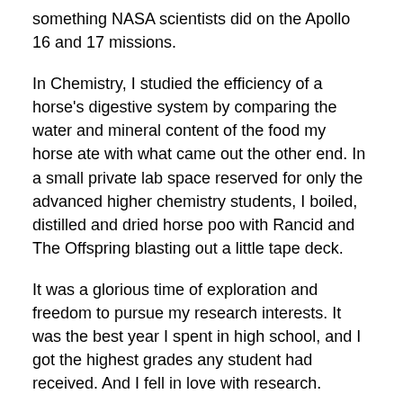something NASA scientists did on the Apollo 16 and 17 missions.
In Chemistry, I studied the efficiency of a horse's digestive system by comparing the water and mineral content of the food my horse ate with what came out the other end. In a small private lab space reserved for only the advanced higher chemistry students, I boiled, distilled and dried horse poo with Rancid and The Offspring blasting out a little tape deck.
It was a glorious time of exploration and freedom to pursue my research interests. It was the best year I spent in high school, and I got the highest grades any student had received. And I fell in love with research.
Although I'd failed to get into vet school immediately after my first round of exams, I'd discovered scientific